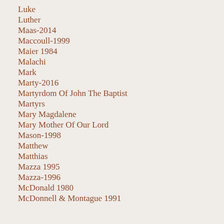Luke
Luther
Maas-2014
Maccoull-1999
Maier 1984
Malachi
Mark
Marty-2016
Martyrdom Of John The Baptist
Martyrs
Mary Magdalene
Mary Mother Of Our Lord
Mason-1998
Matthew
Matthias
Mazza 1995
Mazza-1996
McDonald 1980
McDonnell & Montague 1991